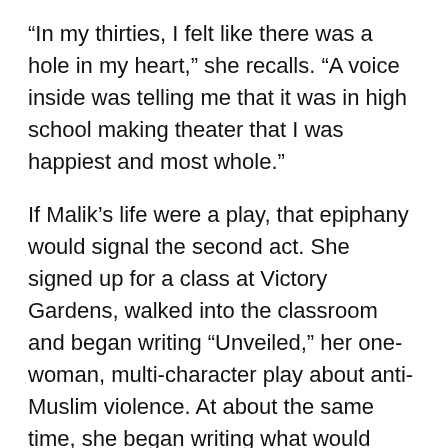“In my thirties, I felt like there was a hole in my heart,” she recalls. “A voice inside was telling me that it was in high school making theater that I was happiest and most whole.”
If Malik’s life were a play, that epiphany would signal the second act. She signed up for a class at Victory Gardens, walked into the classroom and began writing “Unveiled,” her one-woman, multi-character play about anti-Muslim violence. At about the same time, she began writing what would become “Yasmina” and “The Mecca Tales,” as well as developing them through readings, workshops and small-scale performances around town.